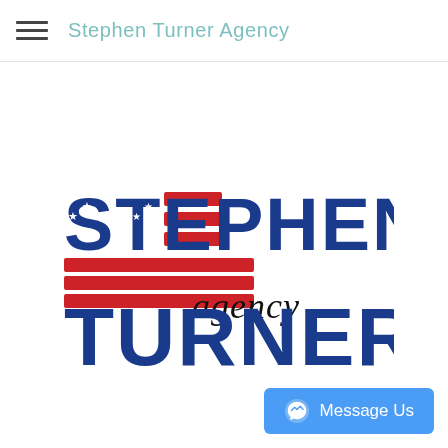Stephen Turner Agency
[Figure (logo): Stephen Turner Agency logo with American flag-themed text: STEPHEN in bold blue with red and white stripes replacing some letter elements and stars, the word 'agency' in cursive script, and TURNER in large bold blue text below.]
Message Us